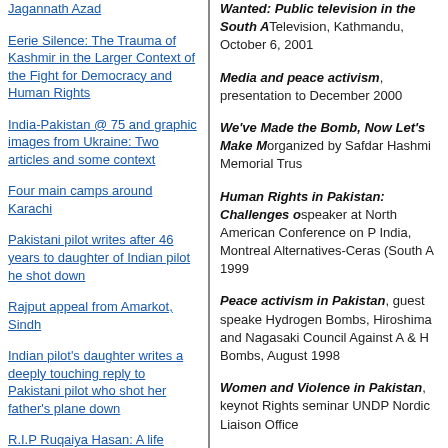Jagannath Azad
Eerie Silence: The Trauma of Kashmir in the Larger Context of the Fight for Democracy and Human Rights
India-Pakistan @ 75 and graphic images from Ukraine: Two articles and some context
Four main camps around Karachi
Pakistani pilot writes after 46 years to daughter of Indian pilot he shot down
Rajput appeal from Amarkot, Sindh
Indian pilot's daughter writes a deeply touching reply to Pakistani pilot who shot her father's plane down
R.I.P Ruqaiya Hasan: A life
Wanted: Public television in the South A… Television, Kathmandu, October 6, 2001
Media and peace activism, presentation to… December 2000
We've Made the Bomb, Now Let's Make M… organized by Safdar Hashmi Memorial Trus…
Human Rights in Pakistan: Challenges o… speaker at North American Conference on P… India, Montreal Alternatives-Ceras (South A… 1999
Peace activism in Pakistan, guest speake… Hydrogen Bombs, Hiroshima and Nagasaki… Council Against A & H Bombs, August 1998
Women and Violence in Pakistan, keynot… Rights seminar UNDP Nordic Liaison Office…
Strengthening democracy in South Asia:… South Asia Dialogue, regional Track II diplo…
Media and Violence Against Women, Wo… 1992
Youth and Politics in Pakistan, speaker a… University of Engineering & Technology, La…